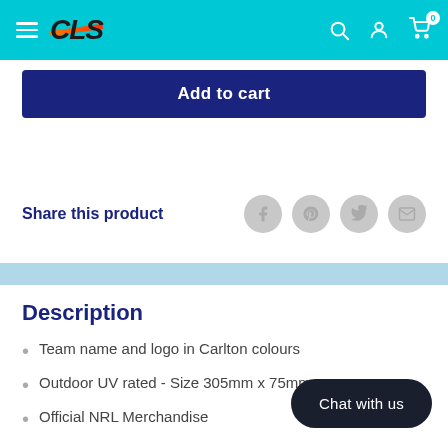CLS — navigation bar with logo, search, account, cart (0)
Add to cart
Share this product
Description
Team name and logo in Carlton colours
Outdoor UV rated - Size 305mm x 75mm
Official NRL Merchandise
Chat with us